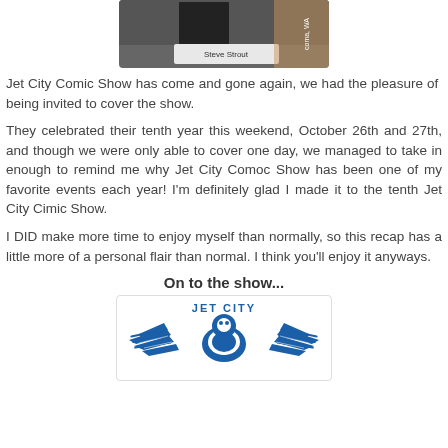[Figure (photo): A badge or card being held, with 'Steve Strout' printed on it, and text reading 'coma, WA' partially visible on the right side.]
Jet City Comic Show has come and gone again, we had the pleasure of being invited to cover the show.
They celebrated their tenth year this weekend, October 26th and 27th, and though we were only able to cover one day, we managed to take in enough to remind me why Jet City Comoc Show has been one of my favorite events each year! I'm definitely glad I made it to the tenth Jet City Cimic Show.
I DID make more time to enjoy myself than normally, so this recap has a little more of a personal flair than normal. I think you'll enjoy it anyways.
On to the show...
[Figure (logo): Jet City Comic Show logo featuring a stylized bird/plane with wings and 'JET CITY' text in blue.]